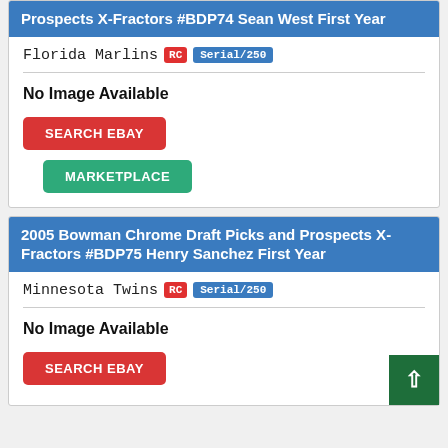Prospects X-Fractors #BDP74 Sean West First Year
Florida Marlins RC Serial/250
No Image Available
SEARCH EBAY
MARKETPLACE
2005 Bowman Chrome Draft Picks and Prospects X-Fractors #BDP75 Henry Sanchez First Year
Minnesota Twins RC Serial/250
No Image Available
SEARCH EBAY